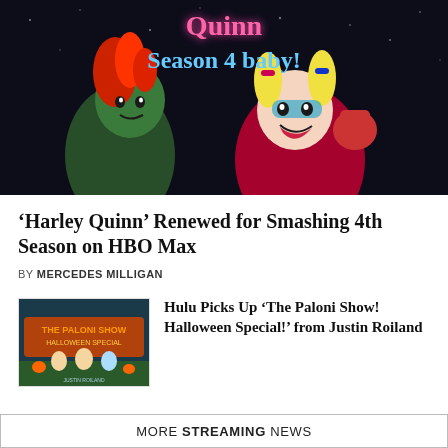[Figure (illustration): Animated promo image for Harley Quinn Season 4 on HBO Max. Dark background with neon pink and blue text reading 'Harley Quinn Season 4 baby!' Animated characters: Poison Ivy (green-skinned, red hair) and Harley Quinn (blonde pigtails, red and black outfit) celebrating.]
'Harley Quinn' Renewed for Smashing 4th Season on HBO Max
BY MERCEDES MILLIGAN
[Figure (illustration): Thumbnail image for The Paloni Show Halloween Special. Orange and teal retro-style illustration showing cartoon characters and text 'The Paloni Show' in orange letters.]
Hulu Picks Up ‘The Paloni Show! Halloween Special!’ from Justin Roiland
MORE STREAMING NEWS